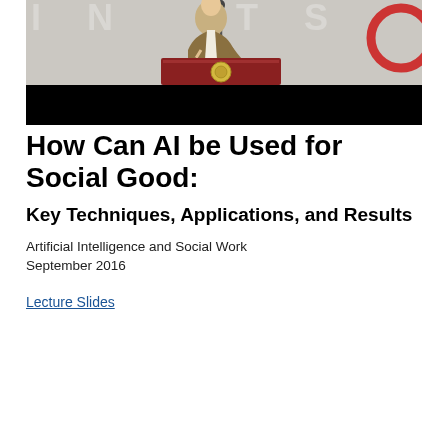[Figure (photo): A person standing at a podium/lectern giving a presentation, with a banner/backdrop behind them. The bottom portion of the image is obscured by a black bar.]
How Can AI be Used for Social Good:
Key Techniques, Applications, and Results
Artificial Intelligence and Social Work
September 2016
Lecture Slides